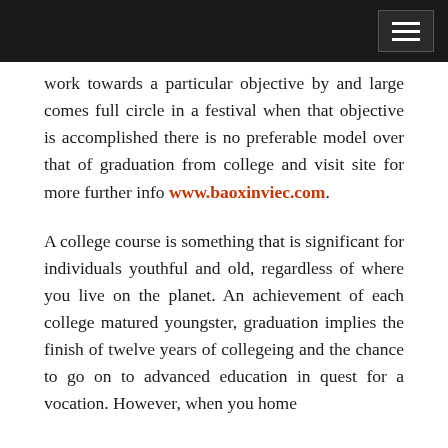work towards a particular objective by and large comes full circle in a festival when that objective is accomplished there is no preferable model over that of graduation from college and visit site for more further info www.baoxinviec.com.
A college course is something that is significant for individuals youthful and old, regardless of where you live on the planet. An achievement of each college matured youngster, graduation implies the finish of twelve years of collegeing and the chance to go on to advanced education in quest for a vocation. However, when you home